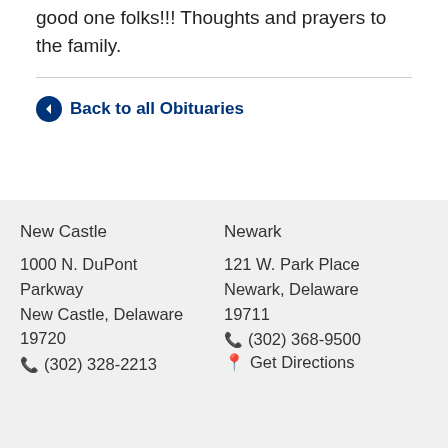good one folks!!! Thoughts and prayers to the family.
Back to all Obituaries
New Castle
1000 N. DuPont Parkway
New Castle, Delaware 19720
☎ (302) 328-2213
Newark
121 W. Park Place
Newark, Delaware 19711
☎ (302) 368-9500
📍 Get Directions